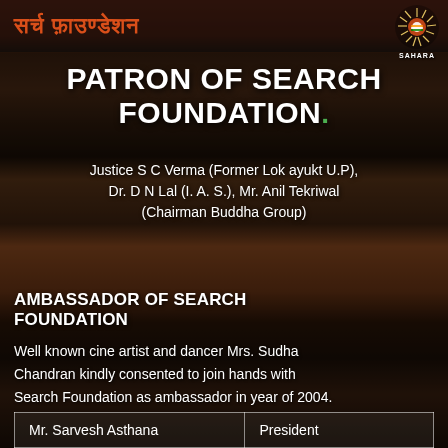[Figure (photo): Background photo of a group of people at a Search Foundation event, with Hindi text banner at top reading 'सर्च फ़ाउण्डेशन द्वारा आयोजित' and a Sahara logo in the top right corner.]
PATRON OF SEARCH FOUNDATION.
Justice S C Verma (Former Lok ayukt U.P), Dr. D N Lal (I. A. S.), Mr. Anil Tekriwal (Chairman Buddha Group)
AMBASSADOR OF SEARCH FOUNDATION
Well known cine artist and dancer Mrs. Sudha Chandran kindly consented to join hands with Search Foundation as ambassador in year of 2004.
| Mr. Sarvesh Asthana | President |